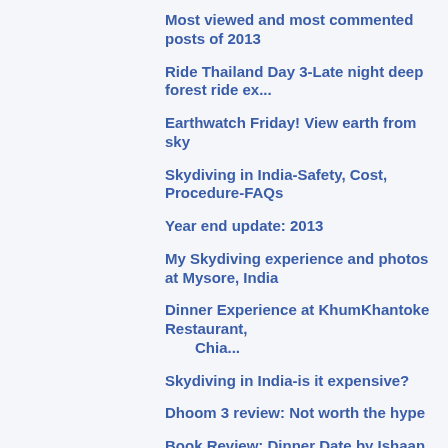Most viewed and most commented posts of 2013
Ride Thailand Day 3-Late night deep forest ride ex...
Earthwatch Friday! View earth from sky
Skydiving in India-Safety, Cost, Procedure-FAQs
Year end update: 2013
My Skydiving experience and photos at Mysore, India
Dinner Experience at KhumKhantoke Restaurant, Chia...
Skydiving in India-is it expensive?
Dhoom 3 review: Not worth the hype
Book Review: Dinner Date by Ishaan Lalit
Northern Thailand Hotel Reviews
Aisle be damned- Rishi Piparaiya
The great indian traveler pledge
Ta Pai World war Memorial bridge, Thailand
Firing from the real gun-0.22 bolt rifle
Biking in Thailand: Ride Thailand/Big Bike Tour - ...